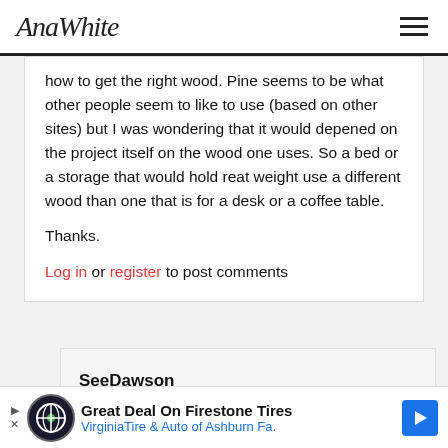AnaWhite
how to get the right wood. Pine seems to be what other people seem to like to use (based on other sites) but I was wondering that it would depened on the project itself on the wood one uses. So a bed or a storage that would hold reat weight use a different wood than one that is for a desk or a coffee table.
Thanks.
Log in or register to post comments
SeeDawson
Fri, 01/05/2018 - 21:10
[Figure (other): Advertisement banner: Great Deal On Firestone Tires - VirginiaTire & Auto of Ashburn Fa.]